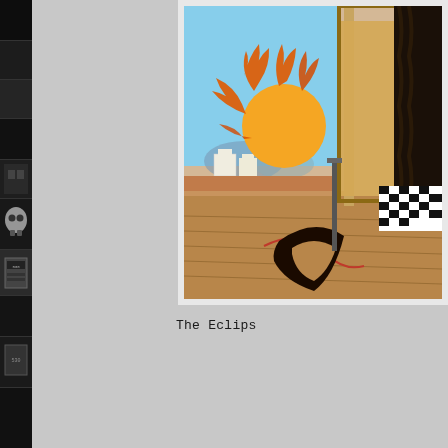[Figure (illustration): Vertical film strip on left edge showing multiple black and white thumbnail frames including skull imagery and a label frame]
[Figure (illustration): Painting by Giorgio de Chirico or similar metaphysical surrealist work. Shows a sun with flame-like rays, a crescent moon shape on a wooden floor, architectural elements, a building exterior with white Mediterranean structures, and wooden geometric forms on the right. The scene is set in a piazza-like space.]
The Eclips